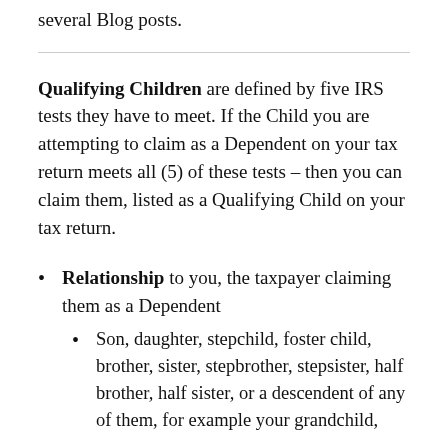several Blog posts.
Qualifying Children are defined by five IRS tests they have to meet. If the Child you are attempting to claim as a Dependent on your tax return meets all (5) of these tests – then you can claim them, listed as a Qualifying Child on your tax return.
Relationship to you, the taxpayer claiming them as a Dependent
Son, daughter, stepchild, foster child, brother, sister, stepbrother, stepsister, half brother, half sister, or a descendent of any of them, for example your grandchild,